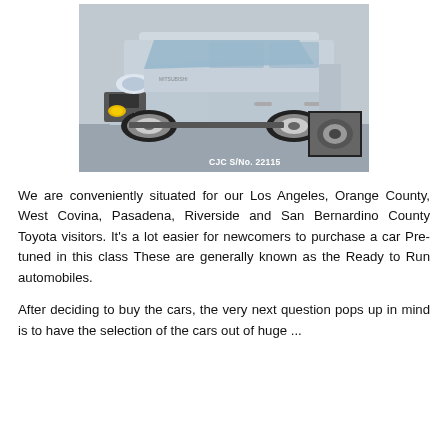[Figure (photo): Silver Mitsubishi Delica mini-van/SUV photographed in a showroom. The vehicle faces front-left. A small inset thumbnail in the lower-right corner shows a close-up of the wheel/tire. Text overlay reads 'CJC S/No. 22115'.]
We are conveniently situated for our Los Angeles, Orange County, West Covina, Pasadena, Riverside and San Bernardino County Toyota visitors. It's a lot easier for newcomers to purchase a car Pre-tuned in this class These are generally known as the Ready to Run automobiles.
After deciding to buy the cars, the very next question pops up in mind is to have the selection of the cars out of huge ...